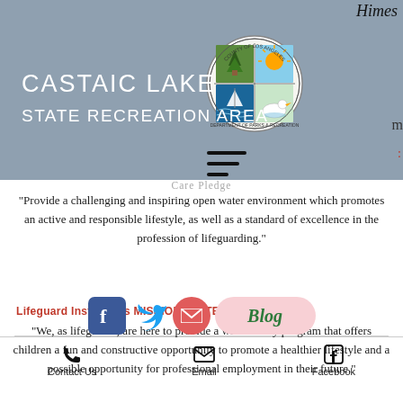Himes
CASTAIC LAKE
STATE RECREATION AREA
[Figure (logo): County of Los Angeles Department of Parks and Recreation seal]
Care Pledge
“Provide a challenging and inspiring open water environment which promotes an active and responsible lifestyle, as well as a standard of excellence in the profession of lifeguarding.”
Lifeguard Instructors MISSION STATEMENT
“We, as lifeguards, are here to provide a water safety program that offers children a fun and constructive opportunity to promote a healthier lifestyle and a possible opportunity for professional employment in their future.”
[Figure (infographic): Social media icons: Facebook, Twitter, Email, Blog button]
Contact Us   Email   Facebook